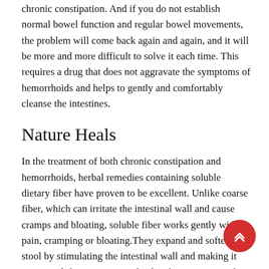chronic constipation. And if you do not establish normal bowel function and regular bowel movements, the problem will come back again and again, and it will be more and more difficult to solve it each time. This requires a drug that does not aggravate the symptoms of hemorrhoids and helps to gently and comfortably cleanse the intestines.
Nature Heals
In the treatment of both chronic constipation and hemorrhoids, herbal remedies containing soluble dietary fiber have proven to be excellent. Unlike coarse fiber, which can irritate the intestinal wall and cause cramps and bloating, soluble fiber works gently without pain, cramping or bloating.They expand and soften stool by stimulating the intestinal wall and making it easier to defecate. By actively absorbing moisture, the fibers turn into a slimy gel that protects the intestinal walls from irritation, relieving